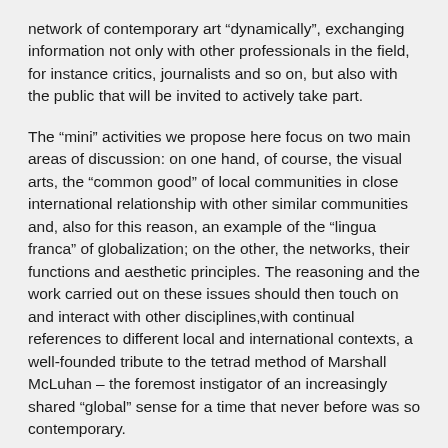network of contemporary art “dynamically”, exchanging information not only with other professionals in the field, for instance critics, journalists and so on, but also with the public that will be invited to actively take part.
The “mini” activities we propose here focus on two main areas of discussion: on one hand, of course, the visual arts, the “common good” of local communities in close international relationship with other similar communities and, also for this reason, an example of the “lingua franca” of globalization; on the other, the networks, their functions and aesthetic principles. The reasoning and the work carried out on these issues should then touch on and interact with other disciplines,with continual references to different local and international contexts, a well-founded tribute to the tetrad method of Marshall McLuhan – the foremost instigator of an increasingly shared “global” sense for a time that never before was so contemporary.